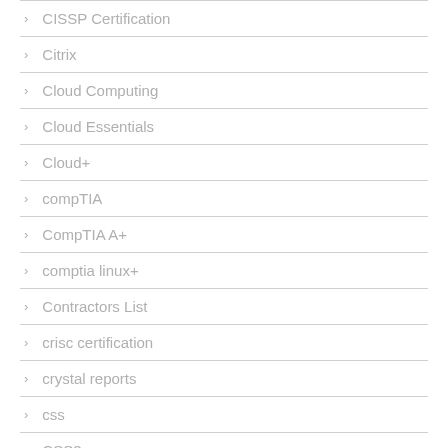CISSP Certification
Citrix
Cloud Computing
Cloud Essentials
Cloud+
compTIA
CompTIA A+
comptia linux+
Contractors List
crisc certification
crystal reports
css
CSS3
CTT+ Training